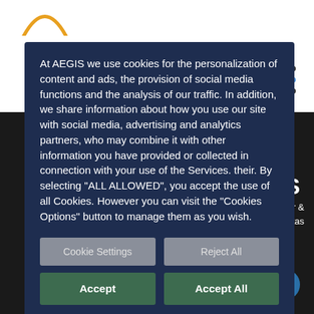[Figure (illustration): Screenshot of AEGIS insurance website cookie consent modal overlay on dark background. White/light background top portion with partial orange arc logo. Right side shows dot grid icon. Black background on lower right with partial text 'S', 'nsurance Broker &', 'ountas'. Modal has dark navy background with cookie consent text and buttons.]
At AEGIS we use cookies for the personalization of content and ads, the provision of social media functions and the analysis of our traffic. In addition, we share information about how you use our site with social media, advertising and analytics partners, who may combine it with other information you have provided or collected in connection with your use of the Services. their. By selecting "ALL ALLOWED", you accept the use of all Cookies. However you can visit the "Cookies Options" button to manage them as you wish.
Cookie Settings
Reject All
Accept
Accept All